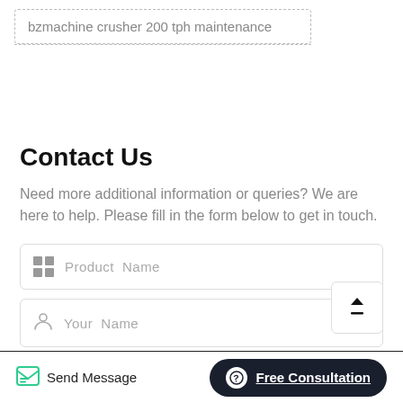bzmachine crusher 200 tph maintenance
Contact Us
Need more additional information or queries? We are here to help. Please fill in the form below to get in touch.
Product  Name
Your  Name
Send Message
Free Consultation